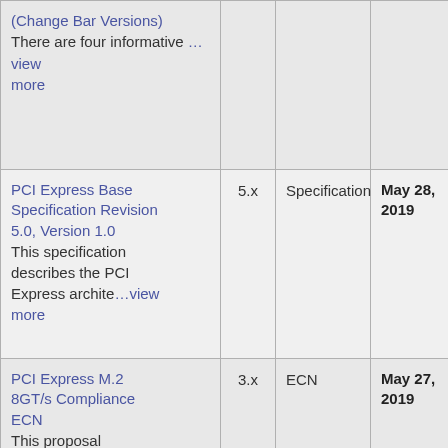| Name | Version | Type | Date |
| --- | --- | --- | --- |
| (Change Bar Versions)
There are four informative …view more |  |  |  |
| PCI Express Base Specification Revision 5.0, Version 1.0
This specification describes the PCI Express archite…view more | 5.x | Specification | May 28, 2019 |
| PCI Express M.2 8GT/s Compliance ECN
This proposal introduces 8GT/s electrical | 3.x | ECN | May 27, 2019 |